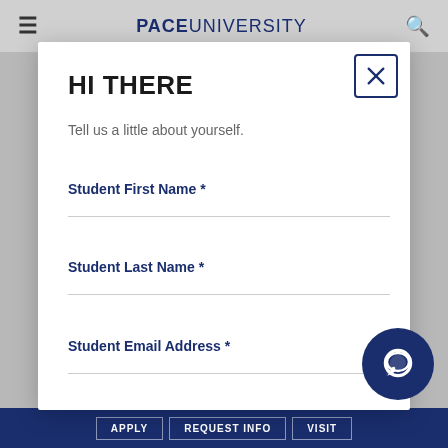PACE UNIVERSITY
HI THERE
Tell us a little about yourself.
Student First Name *
Student Last Name *
Student Email Address *
Mobile Number
APPLY   REQUEST INFO   VISIT